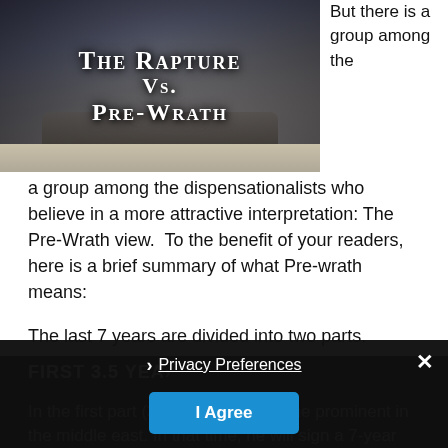[Figure (illustration): Book cover or banner image reading 'The Rapture Vs. Pre-Wrath' in large white serif small-caps text over a dramatic stormy sky with a crashed airplane on a beach.]
But there is a group among the dispensationalists who believe in a more attractive interpretation: The Pre-Wrath view. To the benefit of your readers, here is a brief summary of what Pre-wrath means:
The last 7 years are divided into two parts.
FIRST 3.5 YEA...
In the first part (3.5 yea... will become prominent in the middle east. In that time, he will sign a 7-year...
[Figure (screenshot): Cookie consent overlay with close X button, 'Privacy Preferences' link with chevron, and 'I Agree' blue button.]